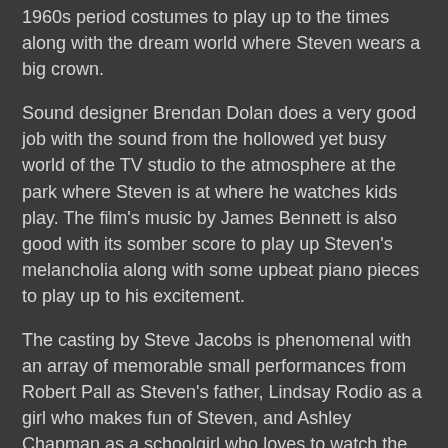Eugenie Barbaroutos does an amazing job with the early 1960s period costumes to play up to the times along with the dream world where Steven wears a big crown.
Sound designer Brendan Dolan does a very good job with the sound from the hollowed yet busy world of the TV studio to the atmosphere at the park where Steven is at where he watches kids play. The film's music by James Bennett is also good with its somber score to play up Steven's melancholia along with some upbeat piano pieces to play up to his excitement.
The casting by Steve Jacobs is phenomenal with an array of memorable small performances from Robert Pall as Steven's father, Lindsay Rodio as a girl who makes fun of Steven, and Ashley Chapman as a schoolgirl who loves to watch the same show that Steven does. Adam Arkin is very good as an actor playing Dottie's husband while Julie Halston is funny as the woman who plays Dottie while bringing complexity to the actress who is really in control of the show. Barbara Garrick is wonderful as Steven's sympathetic yet supportive mother who helps him reach his dreams to meet Dottie. Finally, there's J. Evan Bonifant in an excellent role as Steven. A